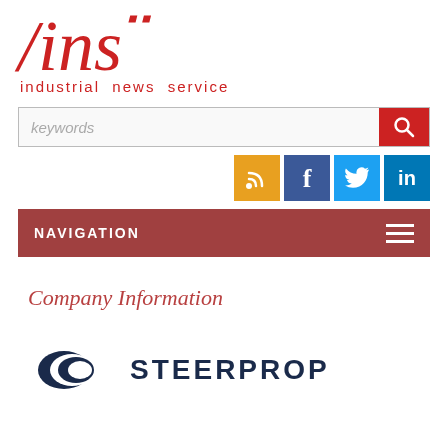[Figure (logo): /ins industrial news service logo — red italic slash and 'ins' text with red dot, subtitle 'industrial news service']
[Figure (screenshot): Search bar with 'keywords' placeholder and red search button]
[Figure (infographic): Social media icons: RSS (orange), Facebook (blue), Twitter (light blue), LinkedIn (blue)]
[Figure (screenshot): Navigation bar with dark red background, 'NAVIGATION' label and hamburger menu icon]
Company Information
[Figure (logo): Steerprop logo — teal and dark navy crescent/circle shape with 'STEERPROP' text in dark navy bold letters]